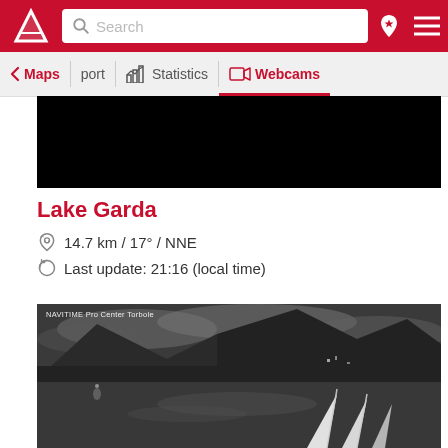Search | Maps | port | Statistics | Webcams
[Figure (screenshot): Dark/black webcam image at top]
Lake Garda
14.7 km / 17° / NNE
Last update: 21:16 (local time)
[Figure (photo): Night-time webcam view of Lake Garda with mountains and water, NAVITIME Pro Center Torbole watermark]